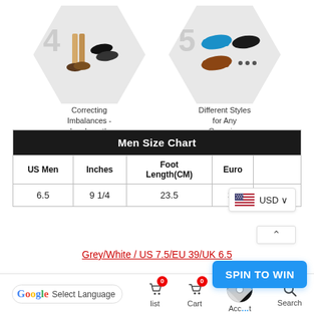[Figure (illustration): Two hexagonal icons: #4 Correcting Imbalances - Leg Length Discrepancy with shoe/leg images, #5 Different Styles for Any Occasion with various shoe styles]
| Men Size Chart |  |  |  |  |
| --- | --- | --- | --- | --- |
| US Men | Inches | Foot Length(CM) | Euro |  |
| 6.5 | 9 1/4 | 23.5 | 37 | 5 |
Grey/White / US 7.5/EU 39/UK 6.5
- 1 + ADD TO [CART]
SPIN TO WIN
Select Language  |  list (0)  |  Cart (0)  |  Account  |  Search